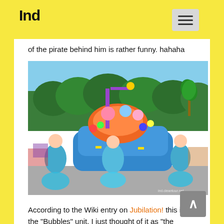Ind
of the pirate behind him is rather funny. hahaha
[Figure (photo): A colorful Jubilation! parade float with performers in bright blue bubble costumes dancing in front of an elaborate multi-tiered circus-themed float. Trees and blue sky are visible in the background. Watermark reads ind.cleantour.net]
According to the Wiki entry on Jubilation! this is the “Bubbles” unit. I just thought of it as “the gaudy Circus float.” Yeah. I wasn’t fond of this one at all. The design of the float and the dancers’ costumes were just… not to my taste.